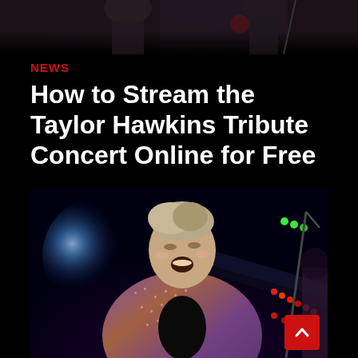[Figure (photo): Partial concert/band photo at top of page — cropped view showing performers on stage with dark background]
NEWS
How to Stream the Taylor Hawkins Tribute Concert Online for Free
[Figure (photo): Concert photo of a young male performer on stage leaning forward with mouth open, wearing a sparkling/sequined jacket, with blue stage lighting and colored LED lights visible in background]